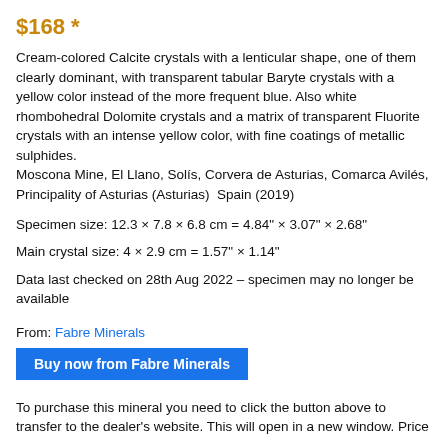$168 *
Cream-colored Calcite crystals with a lenticular shape, one of them clearly dominant, with transparent tabular Baryte crystals with a yellow color instead of the more frequent blue. Also white rhombohedral Dolomite crystals and a matrix of transparent Fluorite crystals with an intense yellow color, with fine coatings of metallic sulphides.
Moscona Mine, El Llano, Solís, Corvera de Asturias, Comarca Avilés, Principality of Asturias (Asturias)  Spain (2019)
Specimen size: 12.3 × 7.8 × 6.8 cm = 4.84" × 3.07" × 2.68"
Main crystal size: 4 × 2.9 cm = 1.57" × 1.14"
Data last checked on 28th Aug 2022 – specimen may no longer be available
From: Fabre Minerals
Buy now from Fabre Minerals
To purchase this mineral you need to click the button above to transfer to the dealer's website. This will open in a new window. Price